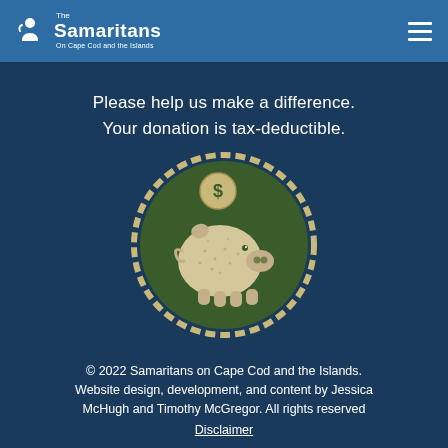The Samaritans On Cape Cod and the Islands
Please help us make a difference.
Your donation is tax-deductible.
[Figure (illustration): Circular badge with dark green background and rope border. Inside is an illustrated piggy bank with a dollar coin above its slot.]
© 2022 Samaritans on Cape Cod and the Islands. Website design, development, and content by Jessica McHugh and Timothy McGregor. All rights reserved Disclaimer